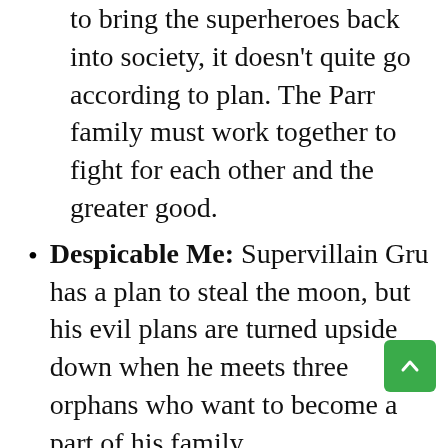to bring the superheroes back into society, it doesn't quite go according to plan. The Parr family must work together to fight for each other and the greater good.
Despicable Me: Supervillain Gru has a plan to steal the moon, but his evil plans are turned upside down when he meets three orphans who want to become a part of his family.
Ralph Breaks the Internet: Six years after the events of "Wreck-It Ralph," Ralph and Vanellope, now friends, discover a wi-fi router in their arcade, leading them into a new adventure in order to find a replacement piece for Vanellope's video game. A true tale of